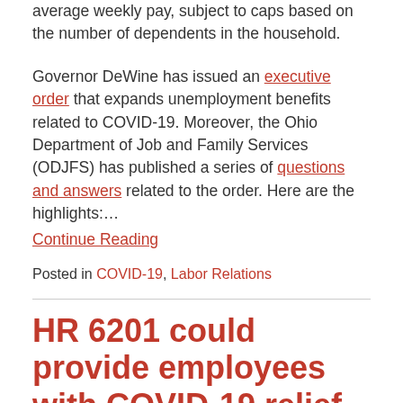average weekly pay, subject to caps based on the number of dependents in the household.
Governor DeWine has issued an executive order that expands unemployment benefits related to COVID-19. Moreover, the Ohio Department of Job and Family Services (ODJFS) has published a series of questions and answers related to the order. Here are the highlights:…
Continue Reading
Posted in COVID-19, Labor Relations
HR 6201 could provide employees with COVID-19 relief while changing the